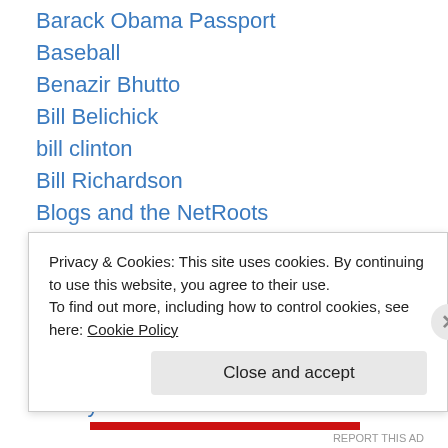Barack Obama Passport
Baseball
Benazir Bhutto
Bill Belichick
bill clinton
Bill Richardson
Blogs and the NetRoots
Boston
Boston Globe
Boston Politics
Boston Red Sox
Bridge Collapse
Buddy Cianci
Privacy & Cookies: This site uses cookies. By continuing to use this website, you agree to their use.
To find out more, including how to control cookies, see here: Cookie Policy
Close and accept